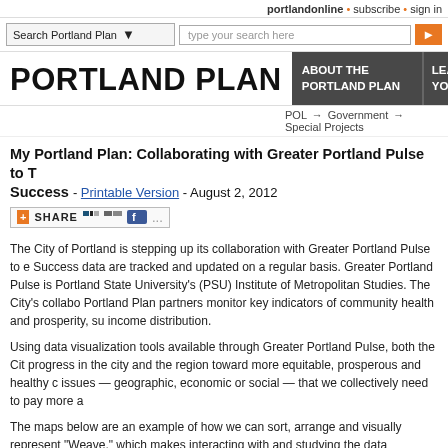portlandonline • subscribe • sign in
Search Portland Plan  [dropdown]  type your search here  [search button]
PORTLAND PLAN
ABOUT THE PORTLAND PLAN  |  LEA YOU
POL → Government → Special Projects
My Portland Plan: Collaborating with Greater Portland Pulse to Track Success - Printable Version - August 2, 2012
[Figure (other): Share button with social media icons (AddThis, Delicious, Digg, Facebook)]
The City of Portland is stepping up its collaboration with Greater Portland Pulse to e Success data are tracked and updated on a regular basis. Greater Portland Pulse is Portland State University's (PSU) Institute of Metropolitan Studies. The City's collabo Portland Plan partners monitor key indicators of community health and prosperity, su income distribution.
Using data visualization tools available through Greater Portland Pulse, both the Cit progress in the city and the region toward more equitable, prosperous and healthy c issues — geographic, economic or social — that we collectively need to pay more a
The maps below are an example of how we can sort, arrange and visually represent "Weave," which makes interacting with and studying the data accessible and engagi representation of statistics.